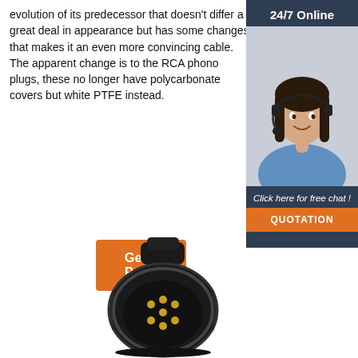evolution of its predecessor that doesn't differ a great deal in appearance but has some changes that makes it an even more convincing cable. The apparent change is to the RCA phono plugs, these no longer have polycarbonate covers but white PTFE instead.
Get Price
[Figure (screenshot): 24/7 Online chat widget with a photo of a female customer service agent wearing a headset, dark navy background, with 'Click here for free chat!' text and an orange QUOTATION button]
[Figure (photo): Black plastic electrical connector adapter, round shape with multiple gold pins visible, clip on top, against white background]